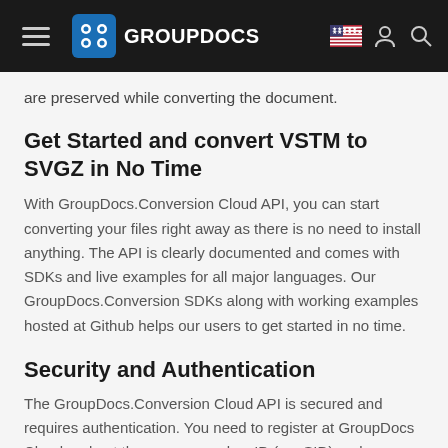GROUPDOCS
are preserved while converting the document.
Get Started and convert VSTM to SVGZ in No Time
With GroupDocs.Conversion Cloud API, you can start converting your files right away as there is no need to install anything. The API is clearly documented and comes with SDKs and live examples for all major languages. Our GroupDocs.Conversion SDKs along with working examples hosted at Github helps our users to get started in no time.
Security and Authentication
The GroupDocs.Conversion Cloud API is secured and requires authentication. You need to register at GroupDocs Cloud and get the app access key ID (appSID) and app secret access key. Authenticated requests require a